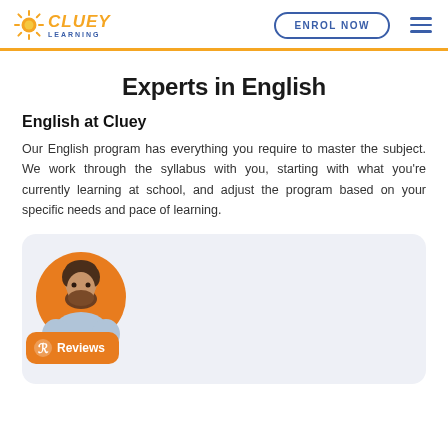Cluey Learning — ENROL NOW
Experts in English
English at Cluey
Our English program has everything you require to master the subject. We work through the syllabus with you, starting with what you're currently learning at school, and adjust the program based on your specific needs and pace of learning.
[Figure (photo): Review card with a man's photo in an orange circle and a 'Reviews' badge in orange at the bottom left]